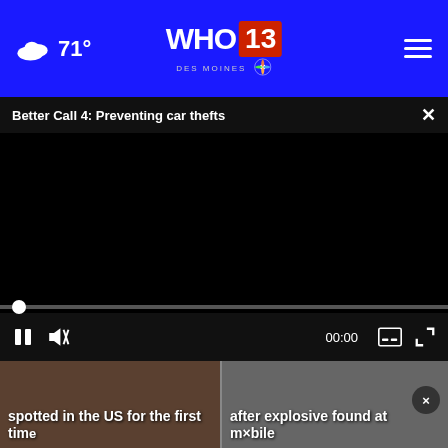71° WHO 13 DES MOINES
Better Call 4: Preventing car thefts
[Figure (screenshot): Black video player area with progress bar and playback controls showing 00:00]
spotted in the US for the first tim...
after explosive found at mobile...
[Figure (photo): Brother 1 Year of Ink advertisement banner with printer image and Shop Now button]